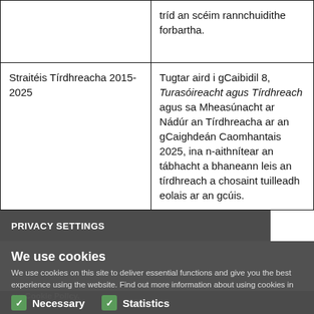|  | tríd an scéim rannchuidithe forbartha. |
| Straitéis Tírdhreacha 2015-2025 | Tugtar aird i gCaibidil 8, Turasóireacht agus Tírdhreach agus sa Mheasúnacht ar Nádúr an Tírdhreacha ar an gCaighdeán Caomhantais 2025, ina n-aithnítear an tábhacht a bhaneann leis an tírdhreach a chosaint... |
PRIVACY SETTINGS
We use cookies
We use cookies on this site to deliver essential functions and give you the best experience using the website. Find out more information about using cookies in our Cookie Policy.
Necessary   Statistics
SAVE PREFERENCES   ACCEPT ALL COOKIES